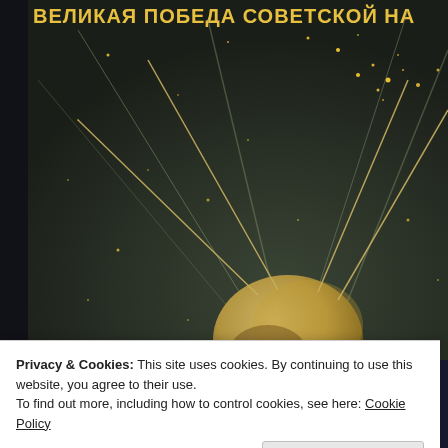[Figure (illustration): Soviet propaganda poster showing Sputnik satellite against a dark starry sky. Cyrillic text at the top reads 'ВЕЛИКАЯ ПОБЕДА СОВЕТСКОЙ НАУКИ' (Great Victory of Soviet Science). The golden satellite with four radio antennae trails is visible in the lower portion, with radiating beams of light and scattered yellow stars against a dark green-black background.]
Privacy & Cookies: This site uses cookies. By continuing to use this website, you agree to their use.
To find out more, including how to control cookies, see here: Cookie Policy
Close and accept